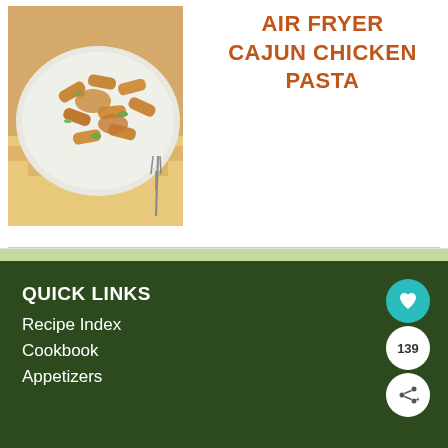[Figure (photo): A plate of Cajun chicken pasta with penne noodles, chicken pieces, and green vegetables on a white plate with a fork, placed on a checkered cloth background]
AIR FRYER CAJUN CHICKEN PASTA
QUICK LINKS
Recipe Index
Cookbook
Appetizers
SHE CAN STEM  Learn More